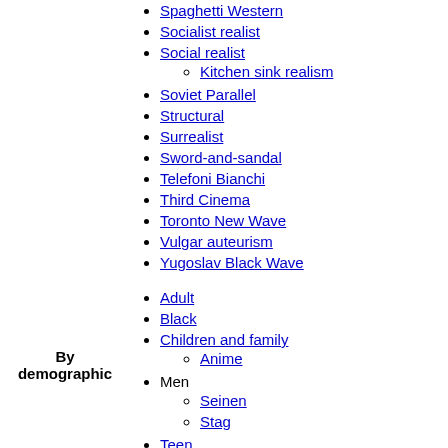Spaghetti Western
Socialist realist
Social realist
Kitchen sink realism
Soviet Parallel
Structural
Surrealist
Sword-and-sandal
Telefoni Bianchi
Third Cinema
Toronto New Wave
Vulgar auteurism
Yugoslav Black Wave
Adult
Black
Children and family
Anime
Men
Seinen
Stag
Teen
Shōnen
Shōjo
Women
By demographic